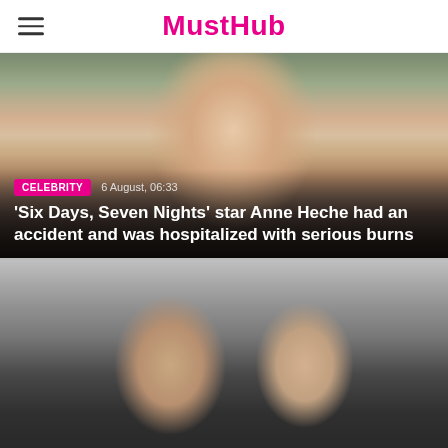MustHub
[Figure (photo): Photo of Anne Heche, blonde woman in floral jacket, on a city street]
CELEBRITY  6 August, 06:33
'Six Days, Seven Nights' star Anne Heche had an accident and was hospitalized with serious burns
[Figure (photo): Photo of Pete Davidson (man in sunglasses and suit) and Kim Kardashian (woman with shaved head in black outfit) at an event with photographers in background]